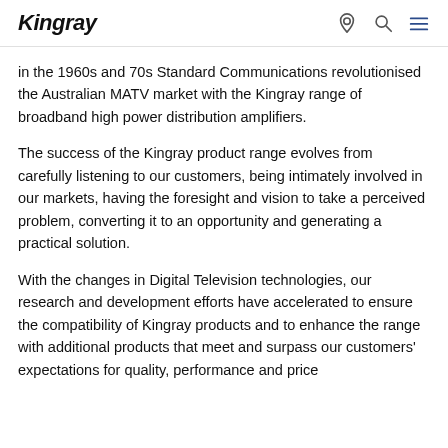Kingray
in the 1960s and 70s Standard Communications revolutionised the Australian MATV market with the Kingray range of broadband high power distribution amplifiers.
The success of the Kingray product range evolves from carefully listening to our customers, being intimately involved in our markets, having the foresight and vision to take a perceived problem, converting it to an opportunity and generating a practical solution.
With the changes in Digital Television technologies, our research and development efforts have accelerated to ensure the compatibility of Kingray products and to enhance the range with additional products that meet and surpass our customers' expectations for quality, performance and price